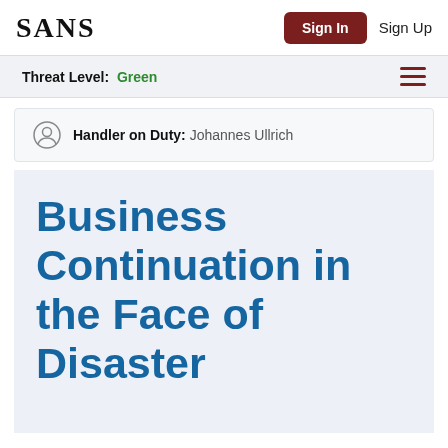SANS | Sign In | Sign Up
Threat Level: Green
Handler on Duty: Johannes Ullrich
Business Continuation in the Face of Disaster